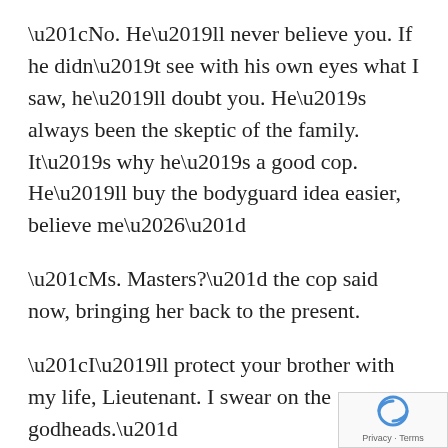“No. He’ll never believe you. If he didn’t see with his own eyes what I saw, he’ll doubt you. He’s always been the skeptic of the family. It’s why he’s a good cop. He’ll buy the bodyguard idea easier, believe me…”
“Ms. Masters?” the cop said now, bringing her back to the present.
“I’ll protect your brother with my life, Lieutenant. I swear on the godheads.”
“Excuse me?”
“Oh. The term is from an ancient religion I follow.” She might have followed a religion if the universe hadn’t lost its faith, along with its a and ability to reproduce.
[Figure (logo): reCAPTCHA badge with blue circular arrow logo and Privacy · Terms text]